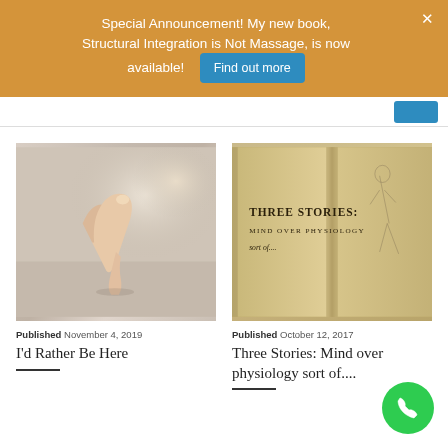Special Announcement! My new book, Structural Integration is Not Massage, is now available!
Find out more
[Figure (photo): Close-up photo of a finger pointing at a surface, bokeh background]
Published November 4, 2019
I'd Rather Be Here
[Figure (photo): Open book showing title page: Three Stories: Mind over Physiology sort of....]
Published October 12, 2017
Three Stories: Mind over physiology sort of....